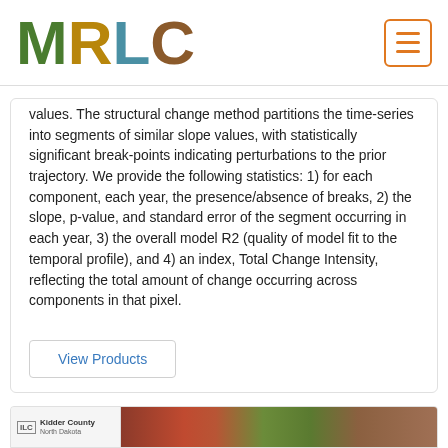MRLC
values. The structural change method partitions the time-series into segments of similar slope values, with statistically significant break-points indicating perturbations to the prior trajectory. We provide the following statistics: 1) for each component, each year, the presence/absence of breaks, 2) the slope, p-value, and standard error of the segment occurring in each year, 3) the overall model R2 (quality of model fit to the temporal profile), and 4) an index, Total Change Intensity, reflecting the total amount of change occurring across components in that pixel.
View Products
[Figure (screenshot): Bottom strip showing a screenshot thumbnail of a map interface with ILC label and county information on the left, and a satellite/land cover map image on the right]